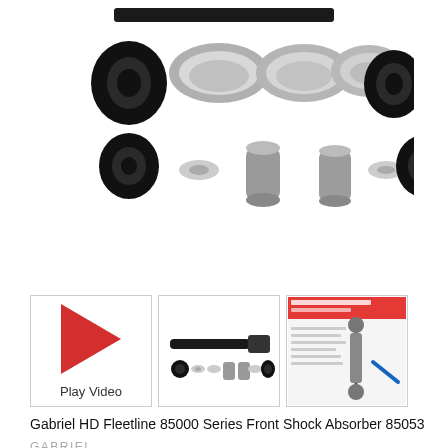[Figure (photo): Product parts kit photo showing rubber grommets, metal washers/cups, cylindrical spacers arranged on white background]
[Figure (photo): Play Video thumbnail with red play triangle button]
[Figure (photo): Thumbnail photo of shock absorber with mounting hardware parts]
[Figure (photo): Thumbnail of product specification sheet showing shock absorber diagram with labels]
Gabriel HD Fleetline 85000 Series Front Shock Absorber 85053
GABRIEL